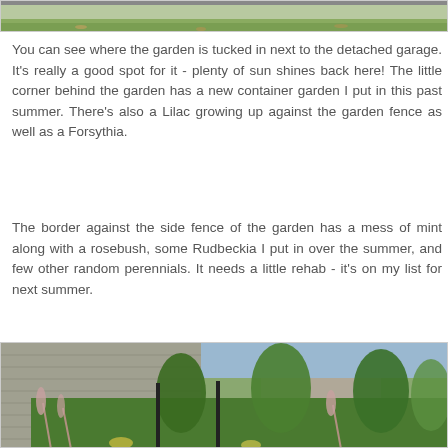[Figure (photo): Partial view of a garden tucked next to a detached garage, showing a lawn area with some fallen leaves.]
You can see where the garden is tucked in next to the detached garage. It's really a good spot for it - plenty of sun shines back here! The little corner behind the garden has a new container garden I put in this past summer. There's also a Lilac growing up against the garden fence as well as a Forsythia.
The border against the side fence of the garden has a mess of mint along with a rosebush, some Rudbeckia I put in over the summer, and few other random perennials. It needs a little rehab - it's on my list for next summer.
[Figure (photo): A lush garden border next to a gray-sided detached garage, with tall green plants, ornamental grasses with pink plumes, and a house visible in the background.]